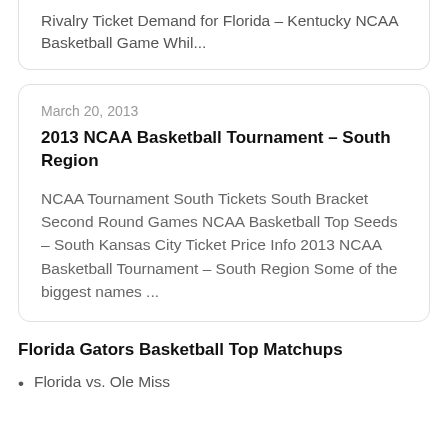Rivalry Ticket Demand for Florida – Kentucky NCAA Basketball Game Whil...
March 20, 2013
2013 NCAA Basketball Tournament – South Region
NCAA Tournament South Tickets South Bracket Second Round Games NCAA Basketball Top Seeds – South Kansas City Ticket Price Info 2013 NCAA Basketball Tournament – South Region Some of the biggest names ...
Florida Gators Basketball Top Matchups
Florida vs. Ole Miss